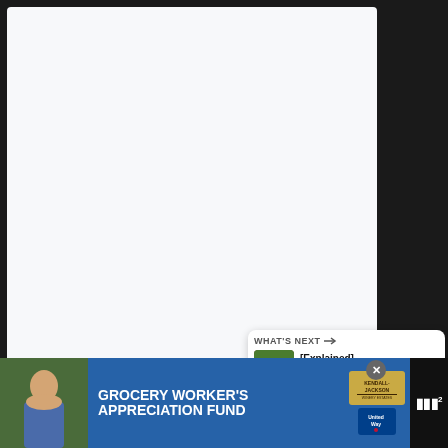[Figure (screenshot): Large white/light gray content area (video or article area), mostly empty/loading]
[Figure (infographic): Blue circular like/heart button with heart icon, showing count of 1, and a white share button below]
[Figure (infographic): WHAT'S NEXT callout card with thumbnail of tractor and title '[Explained] John Deere...']
[Figure (infographic): Advertisement banner: GROCERY WORKER'S APPRECIATION FUND with Kendall Jackson and United Way logos, close button, and branding logo]